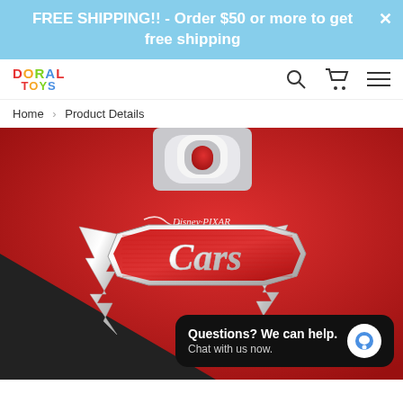FREE SHIPPING!! - Order $50 or more to get free shipping
[Figure (logo): Doral Toys logo with colorful letters]
[Figure (screenshot): Navigation icons: search, cart, and hamburger menu]
Home > Product Details
[Figure (photo): Disney Pixar Cars toy product packaging close-up showing the Cars logo on a red background with chrome lightning bolt design]
Questions? We can help. Chat with us now.